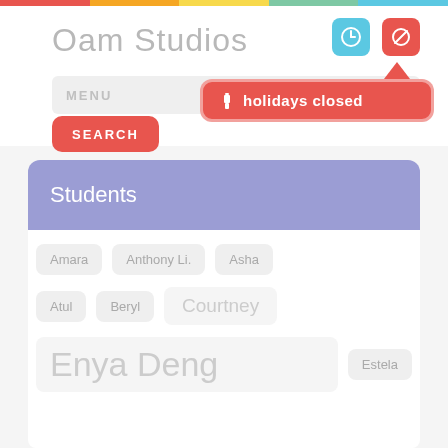Oam Studios
holidays closed
MENU
SEARCH
Students
Amara
Anthony Li.
Asha
Atul
Beryl
Courtney
Enya Deng
Estela